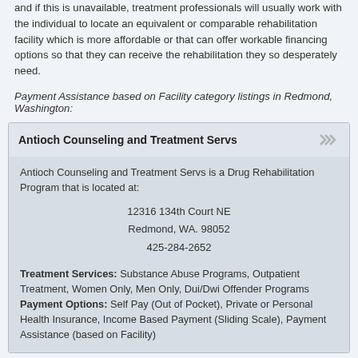and if this is unavailable, treatment professionals will usually work with the individual to locate an equivalent or comparable rehabilitation facility which is more affordable or that can offer workable financing options so that they can receive the rehabilitation they so desperately need.
Payment Assistance based on Facility category listings in Redmond, Washington:
Antioch Counseling and Treatment Servs
Antioch Counseling and Treatment Servs is a Drug Rehabilitation Program that is located at:
12316 134th Court NE
Redmond, WA. 98052
425-284-2652
Treatment Services: Substance Abuse Programs, Outpatient Treatment, Women Only, Men Only, Dui/Dwi Offender Programs
Payment Options: Self Pay (Out of Pocket), Private or Personal Health Insurance, Income Based Payment (Sliding Scale), Payment Assistance (based on Facility)
VA Portland Healthcare System
VA Portland Healthcare System is a Drug Abuse Treatment Center that is located at:
1601 East 4th Plain Boulevard